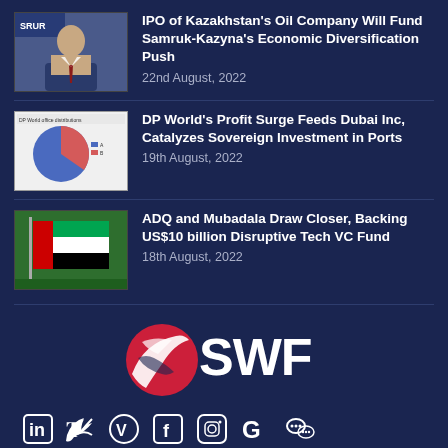[Figure (photo): Thumbnail photo of a man in a suit at a press conference, SRUR branding visible]
IPO of Kazakhstan's Oil Company Will Fund Samruk-Kazyna's Economic Diversification Push
22nd August, 2022
[Figure (pie-chart): Small pie chart thumbnail showing blue and pink/red segments with legend]
DP World's Profit Surge Feeds Dubai Inc, Catalyzes Sovereign Investment in Ports
19th August, 2022
[Figure (photo): Thumbnail photo of UAE flag on grass]
ADQ and Mubadala Draw Closer, Backing US$10 billion Disruptive Tech VC Fund
18th August, 2022
[Figure (logo): SWF logo: red swirl/globe icon followed by bold white text SWF]
[Figure (infographic): Row of social media icons: LinkedIn, Twitter, Vimeo, Facebook, Instagram, Google, WeChat — all white on dark navy background]